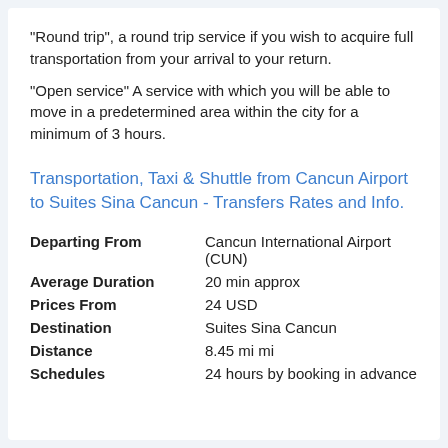"Round trip", a round trip service if you wish to acquire full transportation from your arrival to your return.
"Open service" A service with which you will be able to move in a predetermined area within the city for a minimum of 3 hours.
Transportation, Taxi & Shuttle from Cancun Airport to Suites Sina Cancun - Transfers Rates and Info.
| Departing From | Cancun International Airport (CUN) |
| Average Duration | 20 min approx |
| Prices From | 24 USD |
| Destination | Suites Sina Cancun |
| Distance | 8.45 mi mi |
| Schedules | 24 hours by booking in advance |